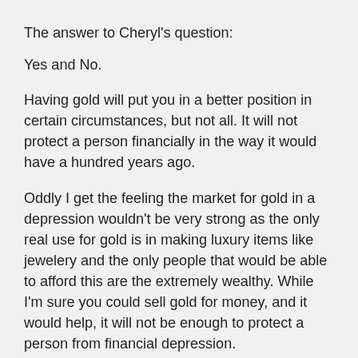The answer to Cheryl's question:
Yes and No.
Having gold will put you in a better position in certain circumstances, but not all. It will not protect a person financially in the way it would have a hundred years ago.
Oddly I get the feeling the market for gold in a depression wouldn't be very strong as the only real use for gold is in making luxury items like jewelery and the only people that would be able to afford this are the extremely wealthy. While I'm sure you could sell gold for money, and it would help, it will not be enough to protect a person from financial depression.
Basically, don't put all your eggs in the gold basket. If you have some, it's not going to hurt, but buying it now isn't a great advantage.
Hope that helps.